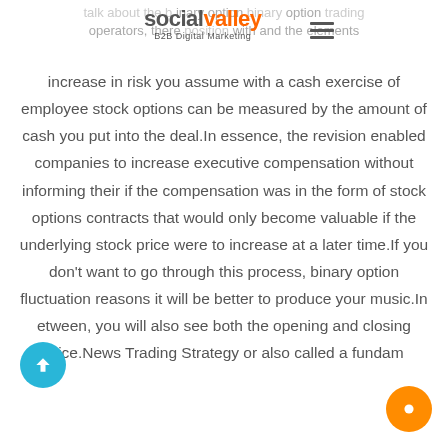socialvalley B2B Digital Marketing
increase in risk you assume with a cash exercise of employee stock options can be measured by the amount of cash you put into the deal.In essence, the revision enabled companies to increase executive compensation without informing their if the compensation was in the form of stock options contracts that would only become valuable if the underlying stock price were to increase at a later time.If you don't want to go through this process, binary option fluctuation reasons it will be better to produce your music.In between, you will also see both the opening and closing price.News Trading Strategy or also called a fundam...